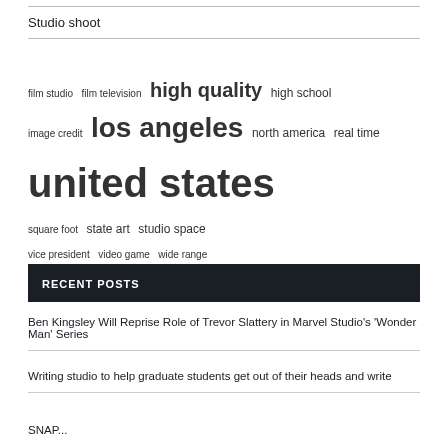Studio shoot
[Figure (other): Tag cloud with terms: film studio, film television, high quality, high school, image credit, los angeles, north america, real time, square foot, state art, studio space, united states, vice president, video game, wide range]
RECENT POSTS
Ben Kingsley Will Reprise Role of Trevor Slattery in Marvel Studio's 'Wonder Man' Series
Writing studio to help graduate students get out of their heads and write
SNAP...